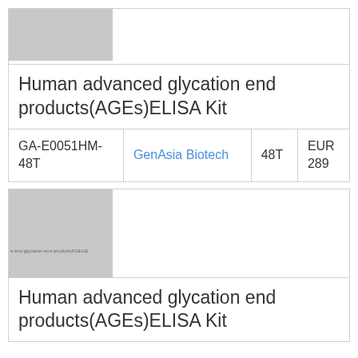[Figure (photo): Gray placeholder image for product]
Human advanced glycation end products(AGEs)ELISA Kit
|  |  |  |  |
| --- | --- | --- | --- |
| GA-E0051HM-48T | GenAsia Biotech | 48T | EUR 289 |
[Figure (photo): Gray placeholder image with faint text reading 'advanced glycation end product(AGEs)E']
Human advanced glycation end products(AGEs)ELISA Kit